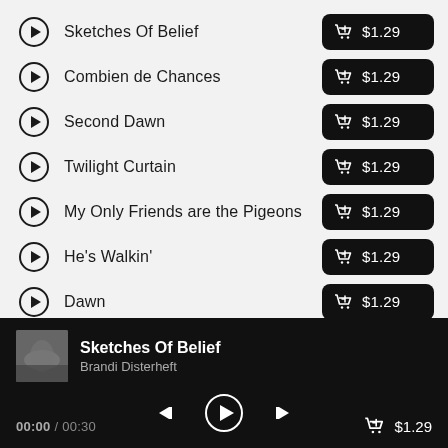Sketches Of Belief  $1.29
Combien de Chances  $1.29
Second Dawn  $1.29
Twilight Curtain  $1.29
My Only Friends are the Pigeons  $1.29
He's Walkin'  $1.29
Dawn  $1.29
Sketches Of Belief
Brandi Disterheft
00:00 / 00:30  $1.29